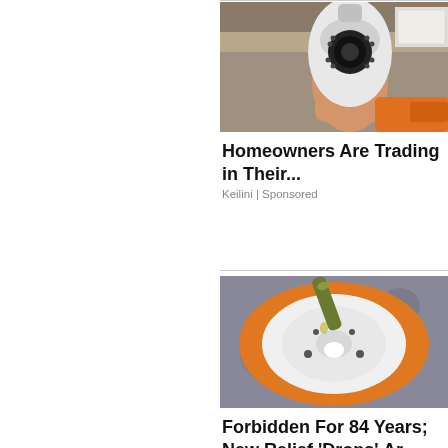[Figure (photo): A hand holding a white dome-shaped security camera that fits into a light bulb socket, with an orange power tool and boxes visible in the background.]
Homeowners Are Trading in Their...
Keilini | Sponsored
[Figure (photo): Close-up of a white light bulb base socket viewed from below, with an orange background, a dark green/olive colored dropper or applicator visible, and several small holes visible in the socket.]
Forbidden For 84 Years; New Relief ‘Drops’ Ar...
Health Headlines | Sponsored